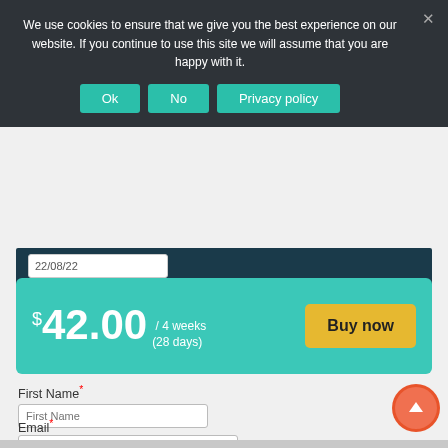We use cookies to ensure that we give you the best experience on our website. If you continue to use this site we will assume that you are happy with it.
Ok | No | Privacy policy
[Figure (screenshot): Partial view of a dark teal subscription card with a price input field showing partial text]
$42.00 / 4 weeks (28 days) Buy now
First Name*
Email*
Sign Up